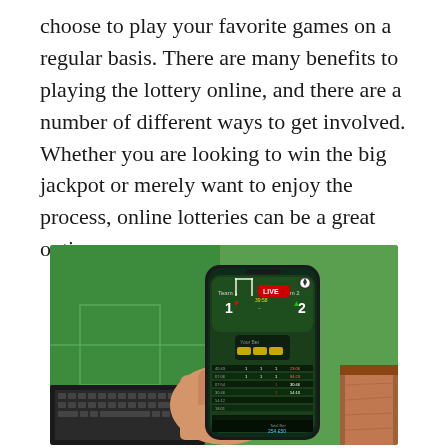choose to play your favorite games on a regular basis. There are many benefits to playing the lottery online, and there are a number of different ways to get involved. Whether you are looking to win the big jackpot or merely want to enjoy the process, online lotteries can be a great option.
[Figure (photo): A hand holding a smartphone showing a live sports betting app with a soccer game score (Team 1 vs Team 2, score 1-2), with a LIVE red badge, betting odds and options displayed. In the background is a laptop with a green soccer field on screen, and a wooden desk surface.]